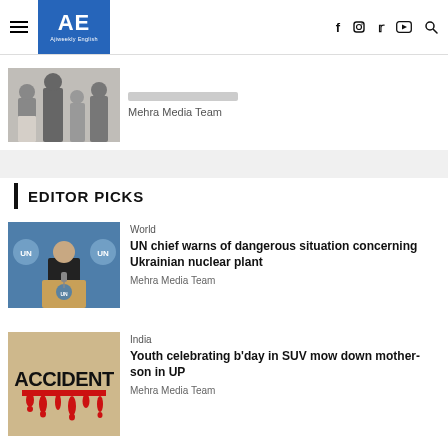AE Ajiweekly English
[Figure (photo): Partially visible image of people walking, cropped at top of page]
Mehra Media Team
EDITOR PICKS
[Figure (photo): Man in suit speaking at a UN podium with UN logos in background]
World
UN chief warns of dangerous situation concerning Ukrainian nuclear plant
Mehra Media Team
[Figure (photo): Graphic image with the word ACCIDENT in bold black letters with red blood drip effect]
India
Youth celebrating b'day in SUV mow down mother-son in UP
Mehra Media Team